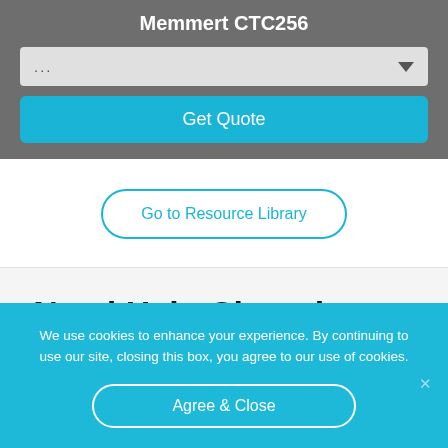Memmert CTC256
...
Get Quote
Go to Resource Library
Need Help Choosing an
We use cookies to enhance your experience. By continuing to use our site, closing this box, you agree to our use of cookies.
Agree & Close